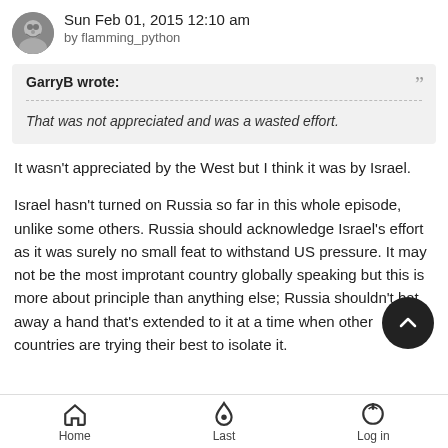Sun Feb 01, 2015 12:10 am
by flamming_python
GarryB wrote:
That was not appreciated and was a wasted effort.
It wasn't appreciated by the West but I think it was by Israel.

Israel hasn't turned on Russia so far in this whole episode, unlike some others. Russia should acknowledge Israel's effort as it was surely no small feat to withstand US pressure. It may not be the most improtant country globally speaking but this is more about principle than anything else; Russia shouldn't bat away a hand that's extended to it at a time when other countries are trying their best to isolate it.
Home  Last  Log in